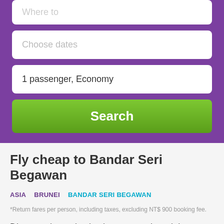Choose dates
1 passenger, Economy
Search
Fly cheap to Bandar Seri Begawan
ASIA   BRUNEI   BANDAR SERI BEGAWAN
*Return fares per person, including taxes, excluding NT$ 900 booking fee.
Discover the majestic, the mammoth and the quintessentially magical with BudgetAir.com.tw Taiwan's